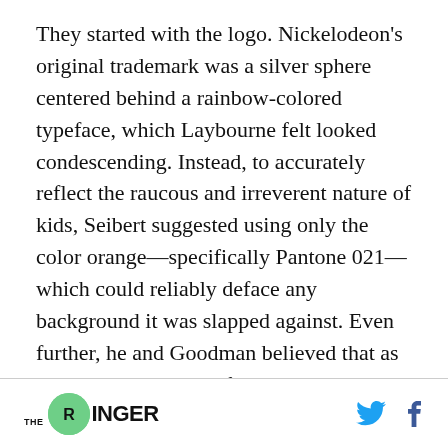They started with the logo. Nickelodeon's original trademark was a silver sphere centered behind a rainbow-colored typeface, which Laybourne felt looked condescending. Instead, to accurately reflect the raucous and irreverent nature of kids, Seibert suggested using only the color orange—specifically Pantone 021—which could reliably deface any background it was slapped against. Even further, he and Goodman believed that as long as the color and font stayed the same, the orange backdrop could take any shape—a submarine, a hamburger, or later, after the
THE RINGER